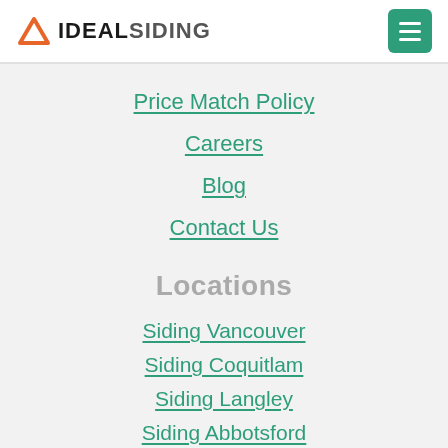IDEAL SIDING
Price Match Policy
Careers
Blog
Contact Us
Locations
Siding Vancouver
Siding Coquitlam
Siding Langley
Siding Abbotsford
Siding Victoria